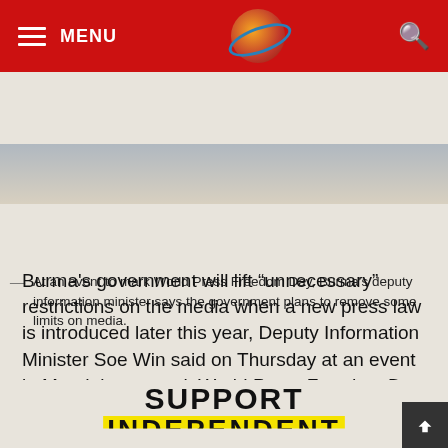MENU
[Figure (screenshot): Hero image strip showing an outdoor sky scene]
At an event to mark World Press Freedom Day, Burma's deputy information minister says the government plans to remove some limits on media.
[Figure (infographic): Social sharing icons row: comment bubble, eye/view icon, Facebook, Twitter, Viber, Line]
Burma's government will lift “unningecessary” restrictions on the media when a new press law is introduced later this year, Deputy Information Minister Soe Win said on Thursday at an event in Mandalay to mark World Press Freedom Day.
SUPPORT INDEPENDENT